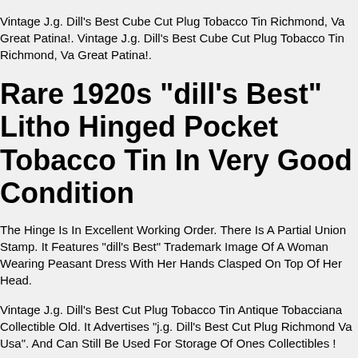Vintage J.g. Dill's Best Cube Cut Plug Tobacco Tin Richmond, Va Great Patina!. Vintage J.g. Dill's Best Cube Cut Plug Tobacco Tin Richmond, Va Great Patina!.
Rare 1920s "dill's Best" Litho Hinged Pocket Tobacco Tin In Very Good Condition
The Hinge Is In Excellent Working Order. There Is A Partial Union Stamp. It Features "dill's Best" Trademark Image Of A Woman Wearing Peasant Dress With Her Hands Clasped On Top Of Her Head.
Vintage J.g. Dill's Best Cut Plug Tobacco Tin Antique Tobacciana Collectible Old. It Advertises "j.g. Dill's Best Cut Plug Richmond Va Usa". And Can Still Be Used For Storage Of Ones Collectibles !